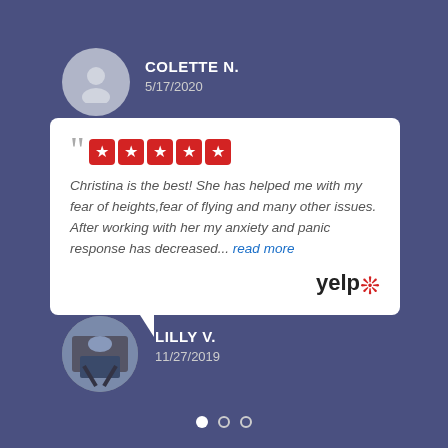[Figure (illustration): Circular avatar with grey silhouette person icon for Colette N.]
COLETTE N.
5/17/2020
Christina is the best! She has helped me with my fear of heights,fear of flying and many other issues. After working with her my anxiety and panic response has decreased... read more
[Figure (logo): Yelp logo with red burst symbol]
[Figure (photo): Circular avatar photo of Lilly V. showing person sitting]
LILLY V.
11/27/2019